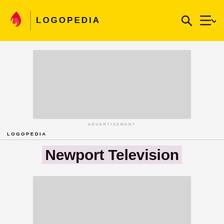LOGOPEDIA
[Figure (other): Advertisement placeholder block (grey rectangle)]
ADVERTISEMENT
LOGOPEDIA
Newport Television
[Figure (other): Content image placeholder block (grey rectangle)]